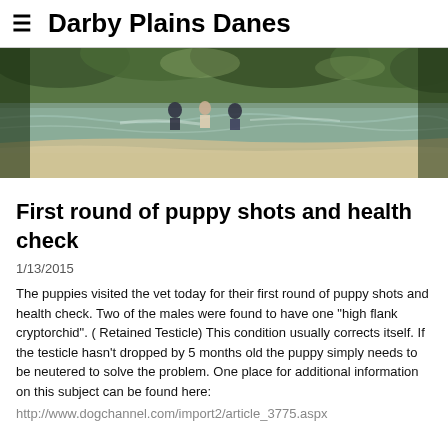≡  Darby Plains Danes
[Figure (photo): Outdoor creek scene with people wading in shallow water surrounded by trees and sandy banks, blurry/motion-blurred image]
First round of puppy shots and health check
1/13/2015
The puppies visited the vet today for their first round of puppy shots and health check.  Two of the males were found to have one "high flank cryptorchid".  ( Retained Testicle)  This condition usually corrects itself.  If the testicle hasn't dropped by 5 months old the puppy simply needs to be neutered to solve the problem.   One place for additional information on this subject can be found here:
http://www.dogchannel.com/import2/article_3775.aspx